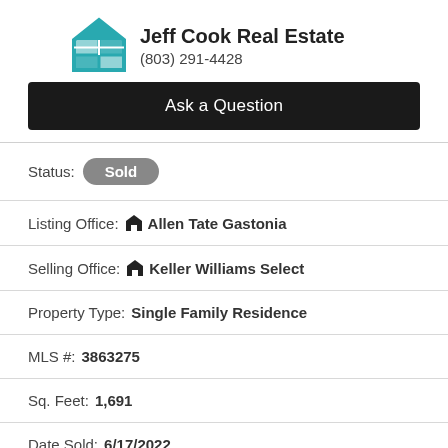[Figure (logo): Jeff Cook Real Estate teal house logo with window grid]
Jeff Cook Real Estate
(803) 291-4428
Ask a Question
Status: Sold
Listing Office: Allen Tate Gastonia
Selling Office: Keller Williams Select
Property Type: Single Family Residence
MLS #: 3863275
Sq. Feet: 1,691
Date Sold: 6/17/2022